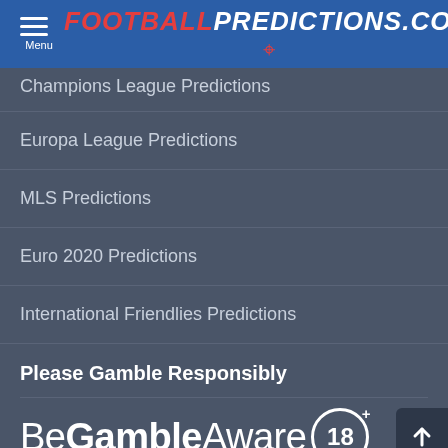FOOTBALLPREDICTIONS.COM
Champions League Predictions
Europa League Predictions
MLS Predictions
Euro 2020 Predictions
International Friendlies Predictions
Please Gamble Responsibly
[Figure (logo): BeGambleAware 18+ logo]
Social Media
[Figure (illustration): Social media icons (blue and green circles)]